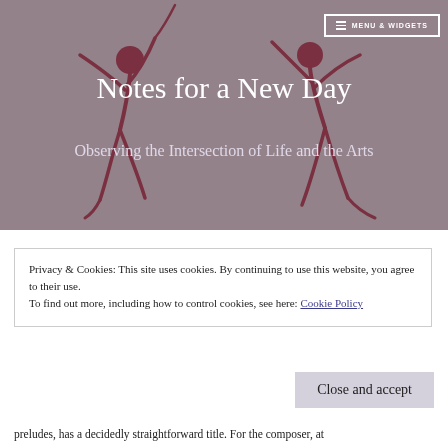[Figure (illustration): Website header image with muted mauve/grey background showing silhouettes of dancing figures in dark red/maroon]
MENU & WIDGETS
Notes for a New Day
Observing the Intersection of Life and the Arts
Privacy & Cookies: This site uses cookies. By continuing to use this website, you agree to their use.
To find out more, including how to control cookies, see here: Cookie Policy
Close and accept
preludes, has a decidedly straightforward title. For the composer, at